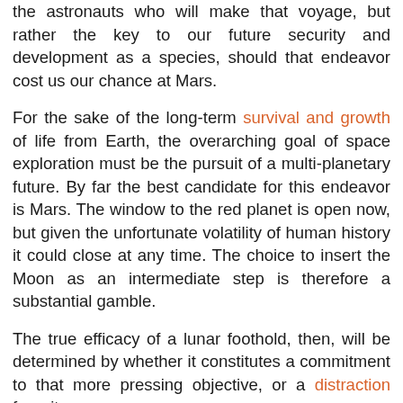the astronauts who will make that voyage, but rather the key to our future security and development as a species, should that endeavor cost us our chance at Mars.
For the sake of the long-term survival and growth of life from Earth, the overarching goal of space exploration must be the pursuit of a multi-planetary future. By far the best candidate for this endeavor is Mars. The window to the red planet is open now, but given the unfortunate volatility of human history it could close at any time. The choice to insert the Moon as an intermediate step is therefore a substantial gamble.
The true efficacy of a lunar foothold, then, will be determined by whether it constitutes a commitment to that more pressing objective, or a distraction from it.
But why is Mars so essential to a multi-planetary future? The Moon is just a few days' travel away – doesn't that make it a more suitable choice for exploration and settlement?